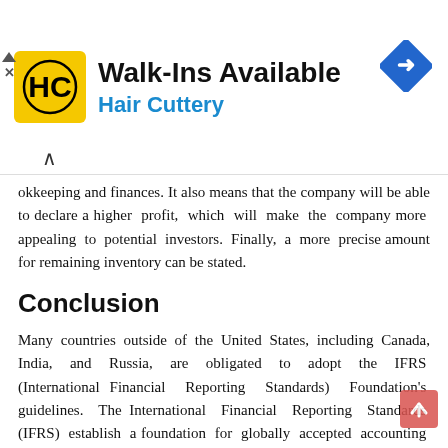[Figure (other): Hair Cuttery advertisement banner with logo, 'Walk-Ins Available' headline, and navigation arrow icon]
okkeeping and finances. It also means that the company will be able to declare a higher profit, which will make the company more appealing to potential investors. Finally, a more precise amount for remaining inventory can be stated.
Conclusion
Many countries outside of the United States, including Canada, India, and Russia, are obligated to adopt the IFRS (International Financial Reporting Standards) Foundation's guidelines. The International Financial Reporting Standards (IFRS) establish a foundation for globally accepted accounting standards, including the requirement that all company use the FIFO method to compute cost of goods sold. As a result, many businesses, including those in the United States, have adopted FIFO as a policy.